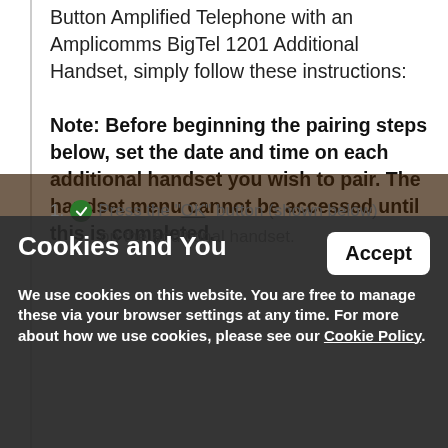Button Amplified Telephone with an Amplicomms BigTel 1201 Additional Handset, simply follow these instructions:
Note: Before beginning the pairing steps below, set the date and time on each additional handset you wish to pair. The handset menu cannot be accessed until this is completed.
1. Press the "OK" button (shown below) on the additional handset.
Cookies and You
We use cookies on this website. You are free to manage these via your browser settings at any time. For more about how we use cookies, please see our Cookie Policy.
Accept